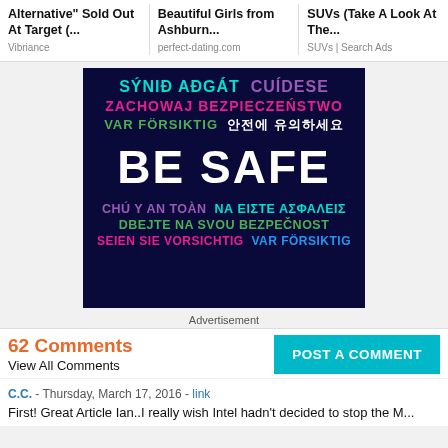Alternative" Sold Out At Target (... | Beautiful Girls from Ashburn... | SUVs (Take A Look At The...
Vibriance | perfect-dating.com | SUVs | Search Ads
[Figure (infographic): Dark navy background infographic with 'BE SAFE' in large white text, surrounded by multilingual safety messages: SÝNIÐ AÐGÁT (teal), CUÍDESE (purple), ZACHOWAJ BEZPIECZEŃSTWO (pink), VAR FÖRSIKTIG (green), 안전에 유의하세요 (white), CHÚ Ý AN TOÀN (purple), ΝΑ ΕΙΣΤΕ ΑΣΦΑΛΕΙΣ (teal), DBEJTE NA SVOU BEZPEČNOST (green), SEIEN SIE VORSICHTIG (pink), VAR FÖRSIKTIG (blue)]
Advertisement
62 Comments
View All Comments
POST A COMMENT
C.C. - Thursday, March 17, 2016 - link
First! Great Article Ian..I really wish Intel hadn't decided to stop the M...